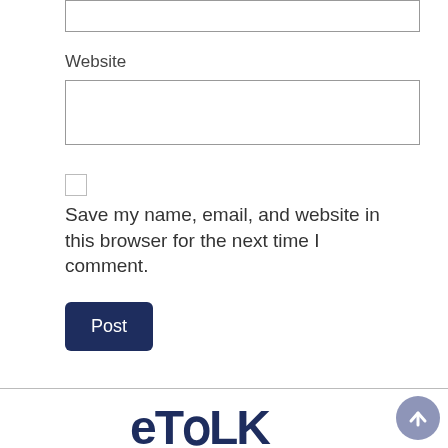Website
Save my name, email, and website in this browser for the next time I comment.
Post
[Figure (logo): eTALK logo in dark navy blue text at the bottom of the page]
[Figure (other): Scroll-to-top circular button with upward arrow, grey-blue color, bottom right corner]